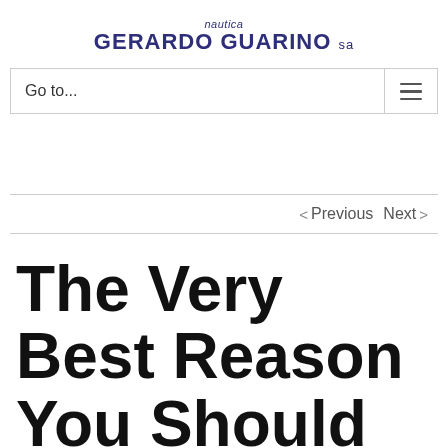nautica GERARDO GUARINO sa
Go to...
< Previous  Next >
The Very Best Reason You Should Utilize A